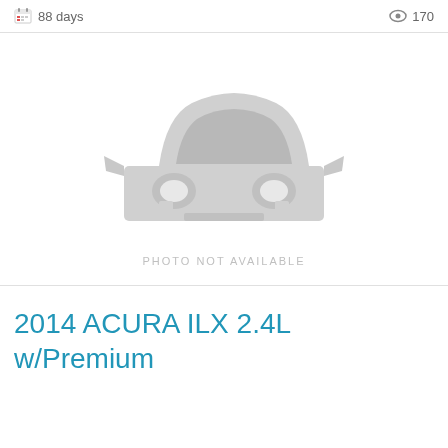88 days   170
[Figure (illustration): Gray car silhouette placeholder image with text 'PHOTO NOT AVAILABLE' below it]
2014 ACURA ILX 2.4L w/Premium